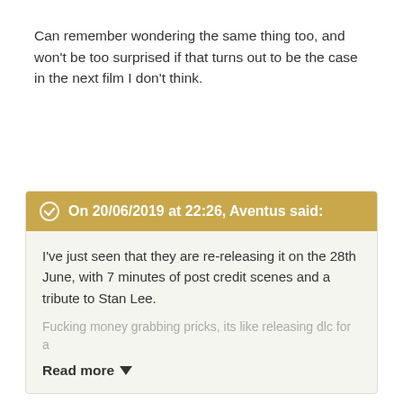Can remember wondering the same thing too, and won't be too surprised if that turns out to be the case in the next film I don't think.
On 20/06/2019 at 22:26, Aventus said: I've just seen that they are re-releasing it on the 28th June, with 7 minutes of post credit scenes and a tribute to Stan Lee. Fucking money grabbing pricks, its like releasing dlc for a [Read more]
Avatar also got a re-release with a bit of extra footage to get to the amount it has now, and the 3D/Imax ticket sales also helped it. S won't be too bothered here if it passes it eventually. It still might not make it though, Avatar didn't make a huge amount when it was re-released as this could be similar, it could end up close but still